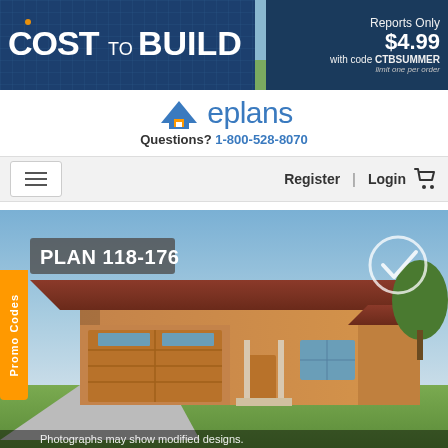[Figure (screenshot): Banner advertisement for 'Cost to Build' service showing blueprint background with 'COST TO BUILD' text, a house photo, and text 'Reports Only $4.99 with code CTBSUMMER limit one per order']
[Figure (logo): eplans logo with arrow/house icon in blue and orange]
Questions? 1-800-528-8070
Register | Login
[Figure (photo): Exterior rendering of a single-story ranch house with wood siding, metal roof, two-car garage with wooden doors, labeled PLAN 118-176 with a checkmark circle icon and Promo Codes orange tab on left side. Caption: Photographs may show modified designs.]